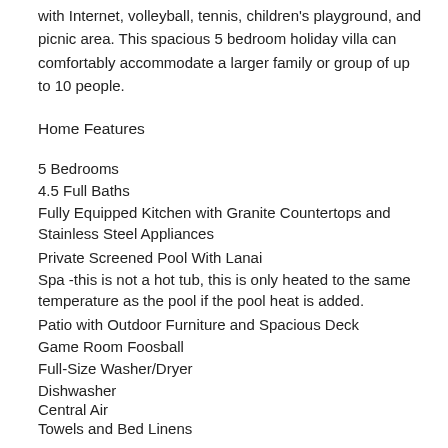with Internet, volleyball, tennis, children's playground, and picnic area. This spacious 5 bedroom holiday villa can comfortably accommodate a larger family or group of up to 10 people.
Home Features
5 Bedrooms
4.5 Full Baths
Fully Equipped Kitchen with Granite Countertops and Stainless Steel Appliances
Private Screened Pool With Lanai
Spa -this is not a hot tub, this is only heated to the same temperature as the pool if the pool heat is added.
Patio with Outdoor Furniture and Spacious Deck
Game Room Foosball
Full-Size Washer/Dryer
Dishwasher
Central Air
Towels and Bed Linens
Internet Access with WIFI
Flat Screen Cable TV In Living Room, Loft, and All Bedrooms except the Twin bedroom